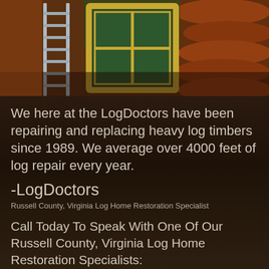[Figure (photo): Photo of a log cabin exterior with a metal ladder and a gold-framed window being installed or repaired. Round log timbers visible on the right side.]
We here at the LogDoctors have been repairing and replacing heavy log timbers since 1989. We average over 4000 feet of log repair every year.
-LogDoctors
Russell County, Virginia Log Home Restoration Specialist
Call Today To Speak With One Of Our Russell County, Virginia Log Home Restoration Specialists:
(855) 349-5647